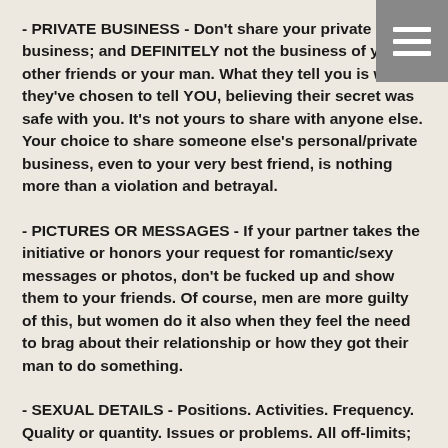- PRIVATE BUSINESS - Don't share your private business; and DEFINITELY not the business of your other friends or your man. What they tell you is what they've chosen to tell YOU, believing their secret was safe with you. It's not yours to share with anyone else. Your choice to share someone else's personal/private business, even to your very best friend, is nothing more than a violation and betrayal.
- PICTURES OR MESSAGES - If your partner takes the initiative or honors your request for romantic/sexy messages or photos, don't be fucked up and show them to your friends. Of course, men are more guilty of this, but women do it also when they feel the need to brag about their relationship or how they got their man to do something.
- SEXUAL DETAILS - Positions. Activities. Frequency. Quality or quantity. Issues or problems. All off-limits; you should be worried about what you talk about getting back to your man. Even if what you have to say is positive, men want to be the shit. They want to be the best you've ever had, no matter what age you are. Giving the